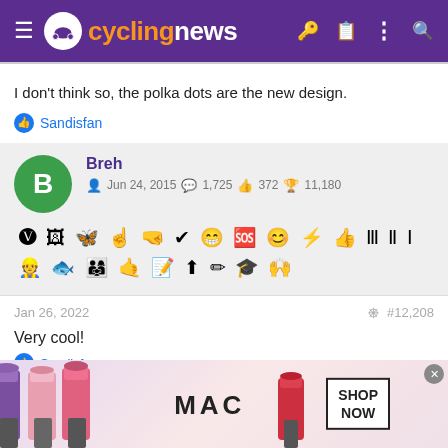cyclingnews
I don't think so, the polka dots are the new design.
Sandisfan
Breh
Jun 24, 2015  1,725  372  11,180
Jan 26, 2022  #12,208
Very cool!
Sandisfan
[Figure (photo): MAC Cosmetics advertisement showing lipsticks with SHOP NOW button]